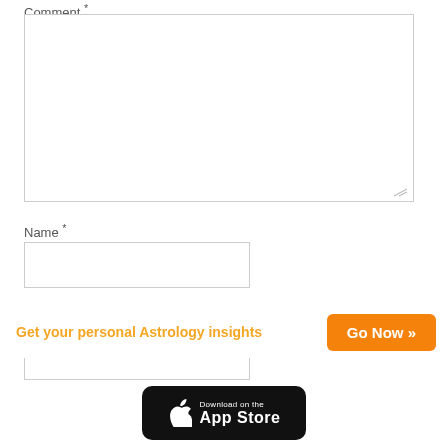Comment *
[Figure (screenshot): Comment text area input box (empty)]
Name *
[Figure (screenshot): Name text input box (empty)]
Email *
[Figure (screenshot): Email text input box (empty)]
Get your personal Astrology insights
Go Now »
[Figure (screenshot): Download on the App Store button]